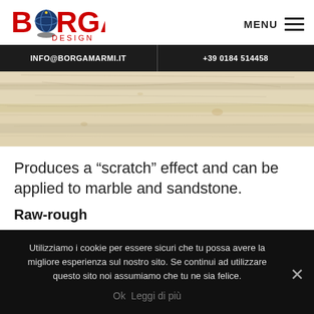BORGA DESIGN | MENU
INFO@BORGAMARMI.IT | +39 0184 514458
[Figure (photo): Close-up photograph of a raw-rough sandstone surface with a beige/cream texture and natural scratch marks]
Produces a “scratch” effect and can be applied to marble and sandstone.
Raw-rough
Utilizziamo i cookie per essere sicuri che tu possa avere la migliore esperienza sul nostro sito. Se continui ad utilizzare questo sito noi assumiamo che tu ne sia felice.
Ok   Leggi di più